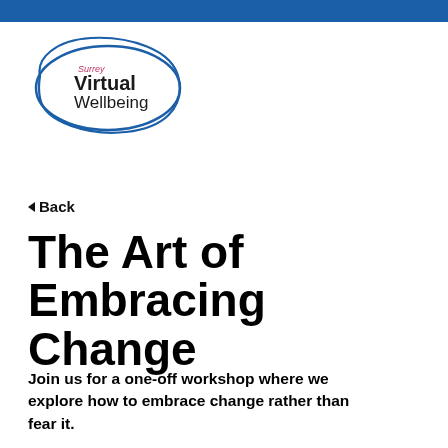[Figure (logo): Surrey Virtual Wellbeing logo: hand-drawn blue oval outline enclosing text 'Surrey' in small pink, 'Virtual' in bold dark, 'Wellbeing' in regular dark]
◄ Back
The Art of Embracing Change
Join us for a one-off workshop where we explore how to embrace change rather than fear it.